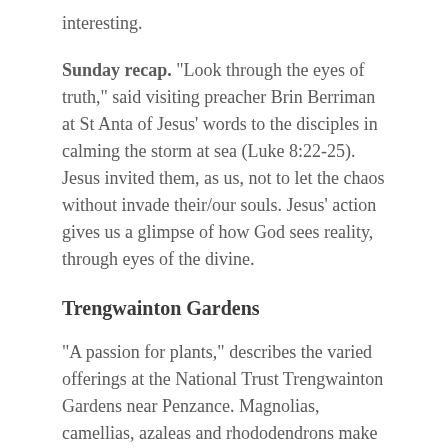interesting.
Sunday recap. "Look through the eyes of truth," said visiting preacher Brin Berriman at St Anta of Jesus' words to the disciples in calming the storm at sea (Luke 8:22-25). Jesus invited them, as us, not to let the chaos without invade their/our souls. Jesus' action gives us a glimpse of how God sees reality, through eyes of the divine.
Trengwainton Gardens
"A passion for plants," describes the varied offerings at the National Trust Trengwainton Gardens near Penzance. Magnolias, camellias, azaleas and rhododendrons make up a big part of the 25 acres. Others, not included, are of remarkable habitat and